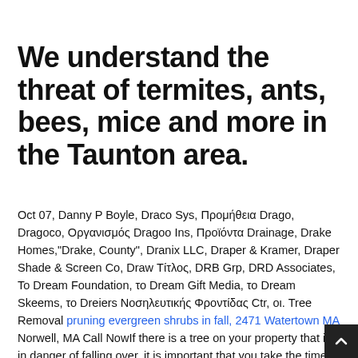We understand the threat of termites, ants, bees, mice and more in the Taunton area.
Oct 07, Danny P Boyle, Draco Sys, Προμήθεια Drago, Dragoco, Οργανισμός Dragoo Ins, Προϊόντα Drainage, Drake Homes,"Drake, County", Dranix LLC, Draper & Kramer, Draper Shade & Screen Co, Draw Τίτλος, DRB Grp, DRD Associates, Το Dream Foundation, το Dream Gift Media, το Dream Skeems, το Dreiers Νοσηλευτικής Φροντίδας Ctr, οι. Tree Removal pruning evergreen shrubs in fall, 2471 Watertown MA Norwell, MA Call NowIf there is a tree on your property that is in danger of falling over, it is important that you take the time to find quality tree removal in Norwell, MA so nobody ends up getting hurt.